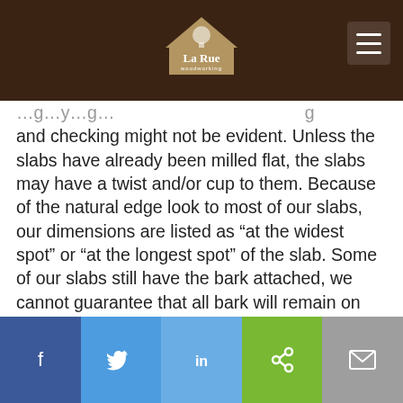La Rue woodworking
and checking might not be evident. Unless the slabs have already been milled flat, the slabs may have a twist and/or cup to them.  Because of the natural edge look to most of our slabs, our dimensions are listed as “at the widest spot” or “at the longest spot” of the slab.  Some of our slabs still have the bark attached, we cannot guarantee that all bark will remain on the slab during the shipping process.  Our slabs are handled with great care, but even as they get moved around on the shelf, the bark can come off.   Item numbers are written on all slabs in red wood marking crayon.
Notice:
*Due to the natural of these irregular shaped